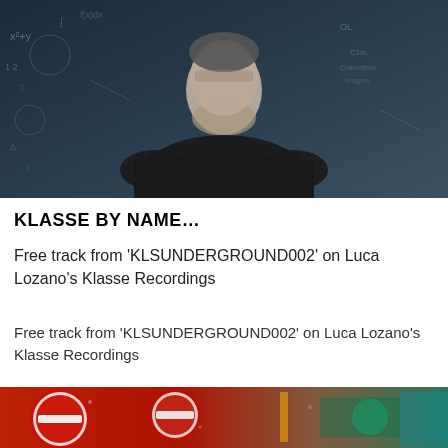[Figure (photo): A man in a dark shirt standing in front of a chalkboard covered in mathematical formulas and diagrams, blue-toned moody photo]
KLASSE BY NAME…
Free track from ‘KLSUNDERGROUND002’ on Luca Lozano’s Klasse Recordings
Free track from ‘KLSUNDERGROUND002’ on Luca Lozano’s Klasse Recordings
[Figure (photo): Colorful urban scene with red and white circular road signs, wet pavement, rainy atmosphere with vivid colors]